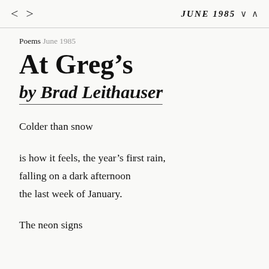< >   JUNE 1985  ∨ ∧
Poems June 1985
At Greg's
by Brad Leithauser
Colder than snow

is how it feels, the year's first rain,
falling on a dark afternoon
the last week of January.

The neon signs